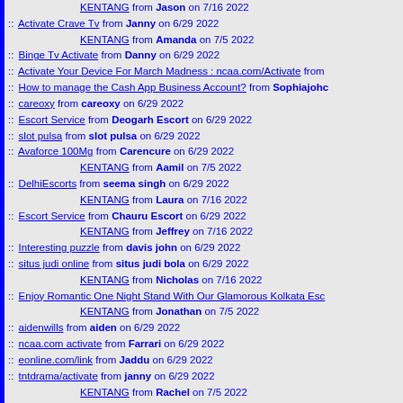KENTANG from Jason on 7/16 2022
:: Activate Crave Tv from Janny on 6/29 2022
KENTANG from Amanda on 7/5 2022
:: Binge Tv Activate from Danny on 6/29 2022
:: Activate Your Device For March Madness : ncaa.com/Activate from
:: How to manage the Cash App Business Account? from Sophiajohc
:: careoxy from careoxy on 6/29 2022
:: Escort Service from Deogarh Escort on 6/29 2022
:: slot pulsa from slot pulsa on 6/29 2022
:: Avaforce 100Mg from Carencure on 6/29 2022
KENTANG from Aamil on 7/5 2022
:: DelhiEscorts from seema singh on 6/29 2022
KENTANG from Laura on 7/16 2022
:: Escort Service from Chauru Escort on 6/29 2022
KENTANG from Jeffrey on 7/16 2022
:: Interesting puzzle from davis john on 6/29 2022
:: situs judi online from situs judi bola on 6/29 2022
KENTANG from Nicholas on 7/16 2022
:: Enjoy Romantic One Night Stand With Our Glamorous Kolkata Esc
KENTANG from Jonathan on 7/5 2022
:: aidenwills from aiden on 6/29 2022
:: ncaa.com activate from Farrari on 6/29 2022
:: eonline.com/link from Jaddu on 6/29 2022
:: tntdrama/activate from janny on 6/29 2022
KENTANG from Rachel on 7/5 2022
:: ballysports.com/activate from Lora on 6/29 2022
:: Activate Binge Tv from Lora on 6/29 2022
:: Call Girls Service in Bagru from Call Girls Service in Bagru on 6/2
KENTANG from Heather on 7/5 2022
:: Binge Tv Activate from Jarry on 6/29 2022